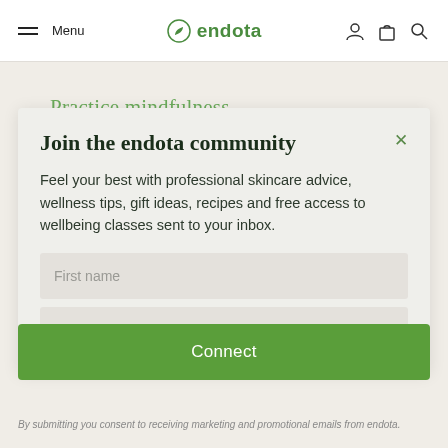Menu  endota
Practice mindfulness
Join the endota community
Feel your best with professional skincare advice, wellness tips, gift ideas, recipes and free access to wellbeing classes sent to your inbox.
First name
Email
Connect
By submitting you consent to receiving marketing and promotional emails from endota.